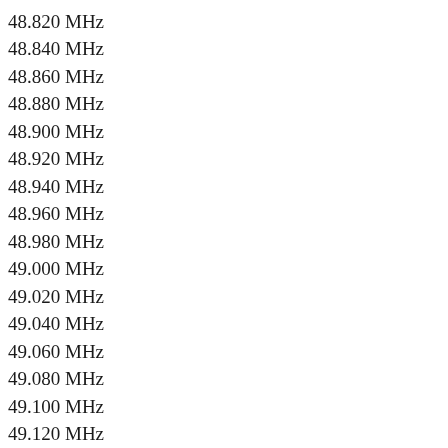48.820 MHz
48.840 MHz
48.860 MHz
48.880 MHz
48.900 MHz
48.920 MHz
48.940 MHz
48.960 MHz
48.980 MHz
49.000 MHz
49.020 MHz
49.040 MHz
49.060 MHz
49.080 MHz
49.100 MHz
49.120 MHz
49.140 MHz
49.160 MHz
49.180 MHz
49.200 MHz